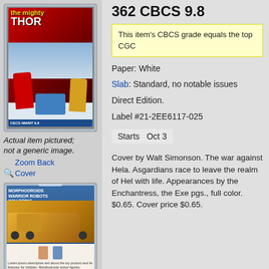362 CBCS 9.8
This item's CBCS grade equals the top CGC
Paper: White
Slab: Standard, no notable issues
Direct Edition.
Label #21-2EE6117-025
Starts   Oct 3
[Figure (photo): Graded comic book slab - The Mighty Thor #362, CBCS 9.8, front cover]
Actual item pictured; not a generic image.
🔍 Zoom Back Cover
[Figure (photo): Graded comic book slab - back cover showing Morphodroids action figure advertisement]
Cover by Walt Simonson. The war against Hela. Asgardians race to leave the realm of Hel with life. Appearances by the Enchantress, the Exe pgs., full color. $0.65. Cover price $0.65.